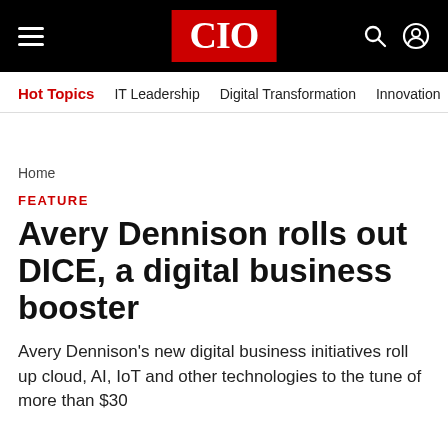CIO
Hot Topics   IT Leadership   Digital Transformation   Innovation
Home
FEATURE
Avery Dennison rolls out DICE, a digital business booster
Avery Dennison’s new digital business initiatives roll up cloud, AI, IoT and other technologies to the tune of more than $30